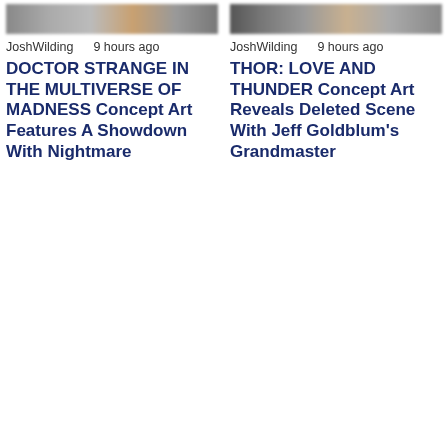[Figure (photo): Blurred/pixelated banner image for Doctor Strange article]
JoshWilding   9 hours ago
DOCTOR STRANGE IN THE MULTIVERSE OF MADNESS Concept Art Features A Showdown With Nightmare
[Figure (photo): Blurred/pixelated banner image for Thor: Love and Thunder article]
JoshWilding   9 hours ago
THOR: LOVE AND THUNDER Concept Art Reveals Deleted Scene With Jeff Goldblum's Grandmaster